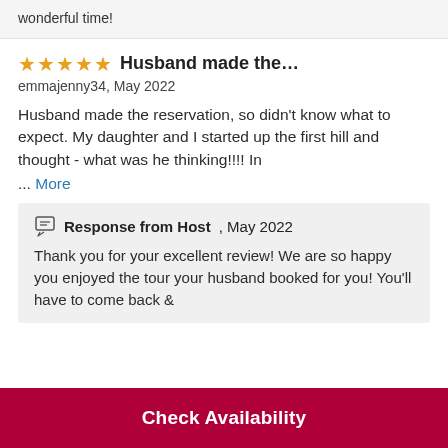wonderful time!
★★★★★ Husband made the...
emmajenny34, May 2022
Husband made the reservation, so didn't know what to expect. My daughter and I started up the first hill and thought - what was he thinking!!!! In
... More
Response from Host, May 2022
Thank you for your excellent review! We are so happy you enjoyed the tour your husband booked for you! You'll have to come back &
Check Availability